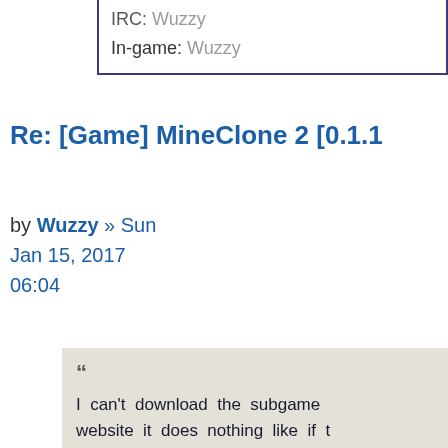IRC: Wuzzy
In-game: Wuzzy
Re: [Game] MineClone 2 [0.1.1
by Wuzzy » Sun Jan 15, 2017 06:04
“ I can't download the subgame website it does nothing like if t down.
Weird. It works for me. Sure you cl link labeled “Download” and NOT on